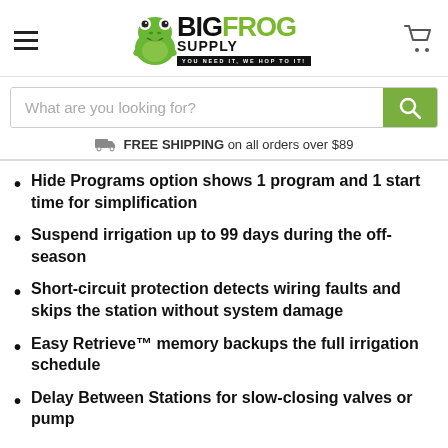[Figure (logo): Big Frog Supply logo with green frog illustration and text 'YOU NEED IT, WE HOP TO IT!']
What are you looking for?
FREE SHIPPING on all orders over $89
Hide Programs option shows 1 program and 1 start time for simplification
Suspend irrigation up to 99 days during the off-season
Short-circuit protection detects wiring faults and skips the station without system damage
Easy Retrieve™ memory backups the full irrigation schedule
Delay Between Stations for slow-closing valves or pump